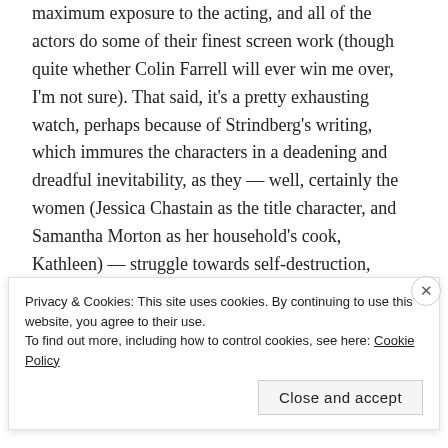maximum exposure to the acting, and all of the actors do some of their finest screen work (though quite whether Colin Farrell will ever win me over, I'm not sure). That said, it's a pretty exhausting watch, perhaps because of Strindberg's writing, which immures the characters in a deadening and dreadful inevitability, as they — well, certainly the women (Jessica Chastain as the title character, and Samantha Morton as her household's cook, Kathleen) — struggle towards self-destruction, helped along by the conniving of Farrell's aspirational servant John. I suppose it all must reveal something about a certain pathology on the part of Strindberg and his era that he seems to will his female characters toward...
Privacy & Cookies: This site uses cookies. By continuing to use this website, you agree to their use.
To find out more, including how to control cookies, see here: Cookie Policy
Close and accept